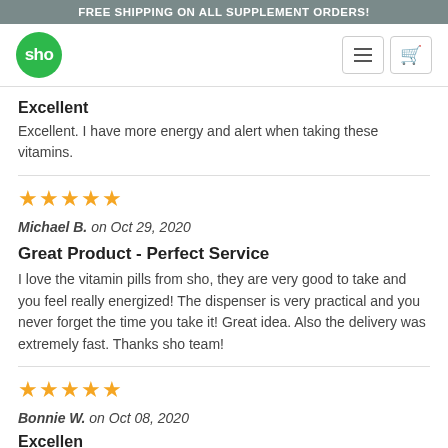FREE SHIPPING ON ALL SUPPLEMENT ORDERS!
[Figure (logo): sho brand logo - green circle with white text 'sho']
Excellent
Excellent. I have more energy and alert when taking these vitamins.
[Figure (other): 5 gold stars rating]
Michael B. on Oct 29, 2020
Great Product - Perfect Service
I love the vitamin pills from sho, they are very good to take and you feel really energized! The dispenser is very practical and you never forget the time you take it! Great idea. Also the delivery was extremely fast. Thanks sho team!
[Figure (other): 5 gold stars rating]
Bonnie W. on Oct 08, 2020
Excellent